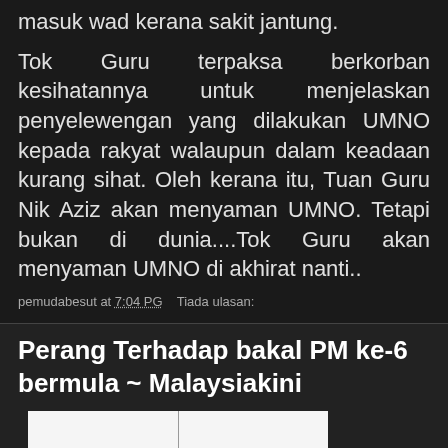masuk wad kerana sakit jantung.
Tok Guru terpaksa berkorban kesihatannya untuk menjelaskan penyelewengan yang dilakukan UMNO kepada rakyat walaupun dalam keadaan kurang sihat. Oleh kerana itu, Tuan Guru Nik Aziz akan menyaman UMNO. Tetapi bukan di dunia....Tok Guru akan menyaman UMNO di akhirat nanti..
pemudabesut at 7:04 PG   Tiada ulasan:
Perang Terhadap bakal PM ke-6 bermula ~ Malaysiakini
[Figure (photo): Partial view of a photo on white background with a thin vertical line visible]